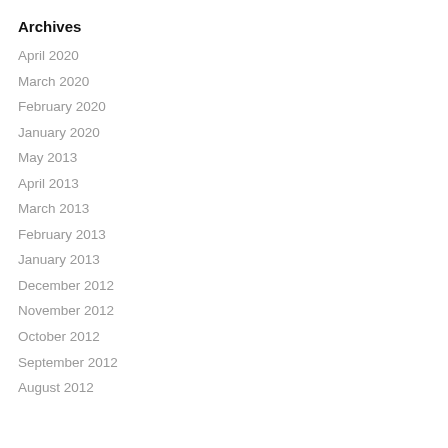Archives
April 2020
March 2020
February 2020
January 2020
May 2013
April 2013
March 2013
February 2013
January 2013
December 2012
November 2012
October 2012
September 2012
August 2012